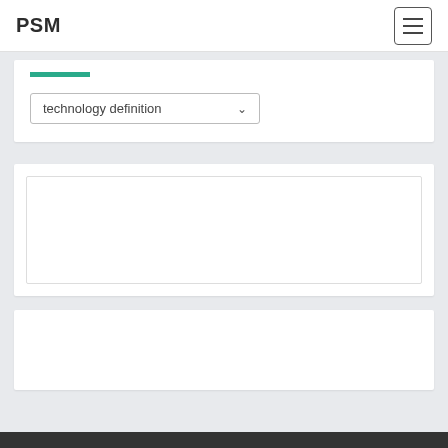PSM
[Figure (screenshot): Teal horizontal accent bar above a dropdown selector]
technology definition
[Figure (screenshot): White card with inner bordered empty box]
[Figure (screenshot): White card empty content area]